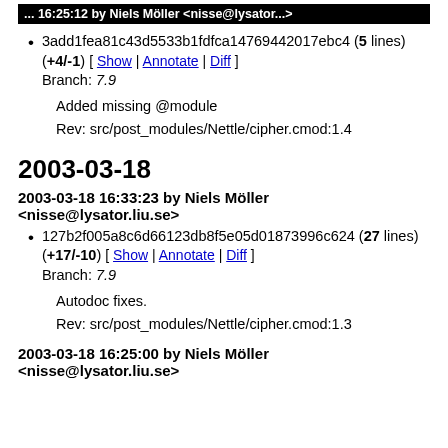... by Niels Möller <nisse@lysator...
3add1fea81c43d5533b1fdfca14769442017ebc4 (5 lines) (+4/-1) [ Show | Annotate | Diff ]
Branch: 7.9

Added missing @module

Rev: src/post_modules/Nettle/cipher.cmod:1.4
2003-03-18
2003-03-18 16:33:23 by Niels Möller <nisse@lysator.liu.se>
127b2f005a8c6d66123db8f5e05d01873996c624 (27 lines) (+17/-10) [ Show | Annotate | Diff ]
Branch: 7.9

Autodoc fixes.

Rev: src/post_modules/Nettle/cipher.cmod:1.3
2003-03-18 16:25:00 by Niels Möller <nisse@lysator.liu.se>